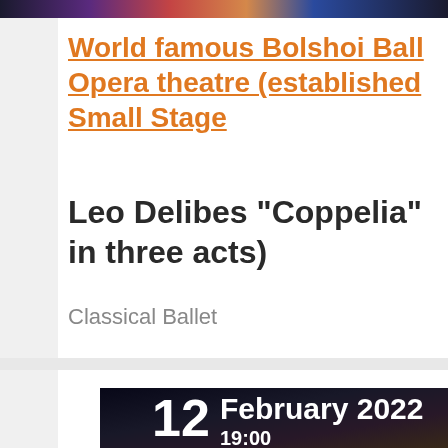[Figure (photo): Top strip image of a colorful stage/performance scene]
World famous Bolshoi Ballet Opera theatre (established Small Stage
Leo Delibes "Coppelia" in three acts)
Classical Ballet
[Figure (photo): Dark performance/audience photo with date overlay showing 12 February 2022 19:00]